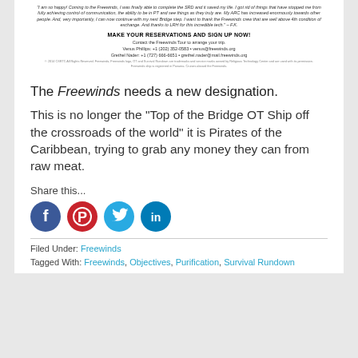"I am so happy! Coming to the Freewinds, I was finally able to complete the SRD and it saved my life. I got rid of things that have stopped me from fully achieving control of communication, the ability to be in PT and see things as they truly are. My ARC has increased enormously towards other people. And, very importantly, I can now continue with my next Bridge step. I want to thank the Freewinds crew that are well above 4th condition of exchange. And thanks to LRH for this incredible tech." – F.K.
MAKE YOUR RESERVATIONS AND SIGN UP NOW!
Contact the Freewinds Tour to arrange your trip. Venus Phillips: +1 (202) 352-0583 • venus@freewinds.org Grethel Nader: +1 (727) 666-6651 • grethel.nader@mail.freewinds.org
© 2014 CSRTC All Rights Reserved. Freewinds, Freewinds logo, OT and Survival Rundown are trademarks and service marks owned by Religious Technology Center and are used with its permission. Freewinds ship is registered in Panama. Cruises aboard the Freewinds.
The Freewinds needs a new designation.
This is no longer the "Top of the Bridge OT Ship off the crossroads of the world" it is Pirates of the Caribbean, trying to grab any money they can from raw meat.
Share this...
[Figure (infographic): Social media share icons: Facebook (blue circle with white f), Pinterest (red circle with white P), Twitter (light blue circle with white bird), LinkedIn (teal/blue circle with white in)]
Filed Under: Freewinds
Tagged With: Freewinds, Objectives, Purification, Survival Rundown